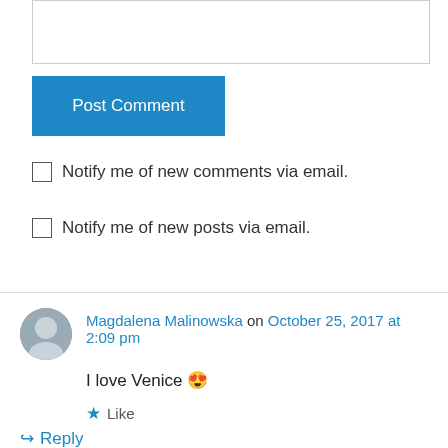[Figure (screenshot): Empty textarea input box for comment]
Post Comment
Notify me of new comments via email.
Notify me of new posts via email.
Magdalena Malinowska on October 25, 2017 at 2:09 pm
I love Venice 😍
Like
Reply